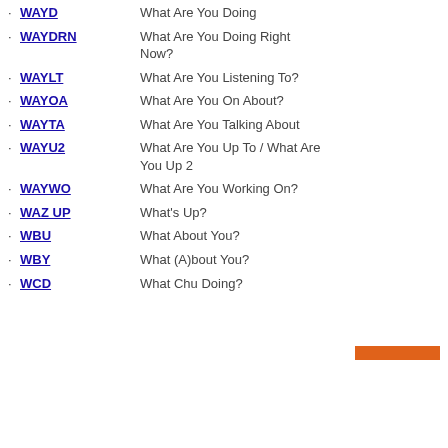WAYD — What Are You Doing
WAYDRN — What Are You Doing Right Now?
WAYLT — What Are You Listening To?
WAYOA — What Are You On About?
WAYTA — What Are You Talking About
WAYU2 — What Are You Up To / What Are You Up 2
WAYWO — What Are You Working On?
WAZ UP — What's Up?
WBU — What About You?
WBY — What (A)bout You?
WCD — What Chu Doing?
[Figure (other): Orange navigation bar element]